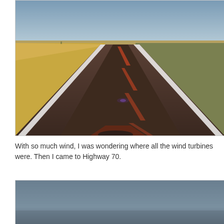[Figure (photo): A long straight road stretching to the horizon through flat open prairie/farmland, viewed from a motorcycle. Golden wheat fields on the left, scrub on the right, dark asphalt road with white dashed center lines and solid white edge line. Blue-gray sky at the top. A lens flare is visible on the road.]
With so much wind, I was wondering where all the wind turbines were. Then I came to Highway 70.
[Figure (photo): A partially visible photo showing a blue-gray gradient sky, likely showing wind turbines or a landscape scene. Only the top portion is visible.]